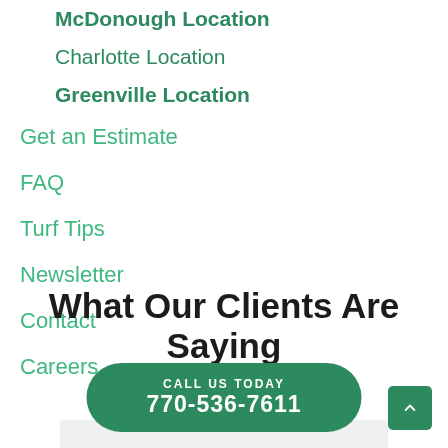McDonough Location
Charlotte Location
Greenville Location
Get an Estimate
FAQ
Turf Tips
Newsletter
Contact
Careers
What Our Clients Are Saying
CALL US TODAY
770-536-7611